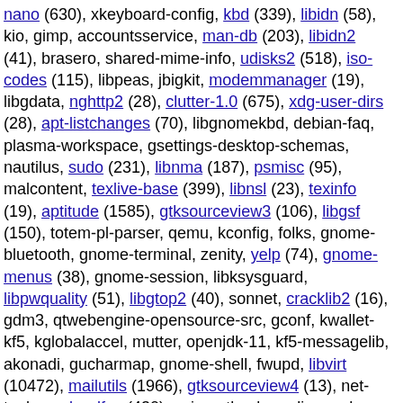nano (630), xkeyboard-config, kbd (339), libidn (58), kio, gimp, accountsservice, man-db (203), libidn2 (41), brasero, shared-mime-info, udisks2 (518), iso-codes (115), libpeas, jbigkit, modemmanager (19), libgdata, nghttp2 (28), clutter-1.0 (675), xdg-user-dirs (28), apt-listchanges (70), libgnomekbd, debian-faq, plasma-workspace, gsettings-desktop-schemas, nautilus, sudo (231), libnma (187), psmisc (95), malcontent, texlive-base (399), libnsl (23), texinfo (19), aptitude (1585), gtksourceview3 (106), libgsf (150), totem-pl-parser, qemu, kconfig, folks, gnome-bluetooth, gnome-terminal, zenity, yelp (74), gnome-menus (38), gnome-session, libksysguard, libpwquality (51), libgtop2 (40), sonnet, cracklib2 (16), gdm3, qtwebengine-opensource-src, gconf, kwallet-kf5, kglobalaccel, mutter, openjdk-11, kf5-messagelib, akonadi, gucharmap, gnome-shell, fwupd, libvirt (10472), mailutils (1966), gtksourceview4 (13), net-tools, make-dfsg (430), spice-gtk, akonadi-search, transmission, libexif, gegl, kwin, gspell (31), clutter-gtk (1), gutenprint (4864), gnome-todo, kservice, kpeople, libgpod, kdbusaddons, gedit, atril (517), knewstuff